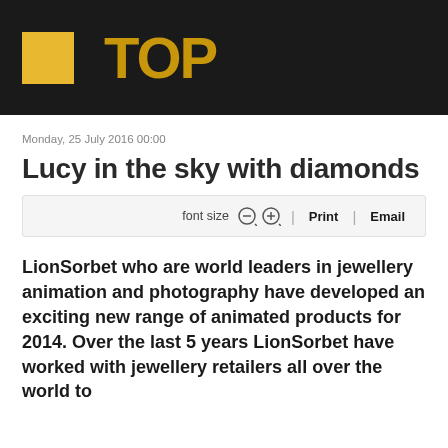[Figure (logo): Dark header bar with yellow square logo icon and golden/yellow stylized text logo]
Monday, 25 July 2016 00:00
Lucy in the sky with diamonds
font size  −  +  |  Print  |  Email
LionSorbet who are world leaders in jewellery animation and photography have developed an exciting new range of animated products for 2014. Over the last 5 years LionSorbet have worked with jewellery retailers all over the world to